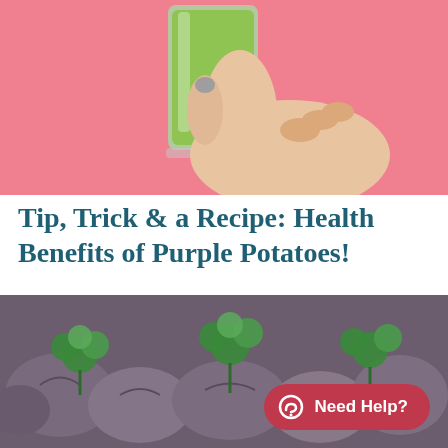[Figure (photo): A hand with grey painted nails holding a glass of green smoothie against a pink background]
Tip, Trick & a Recipe: Health Benefits of Purple Potatoes!
[Figure (photo): Close-up of purple potatoes with green parsley sprigs on top]
Need Help?